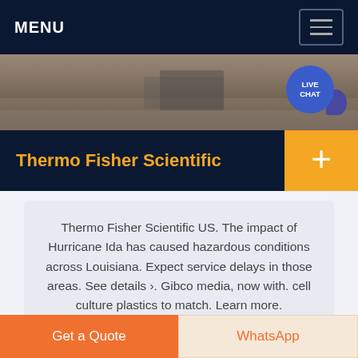MENU
[Figure (screenshot): Hero image showing a laboratory workspace with equipment on a table, muted brown/grey tones with a Live Chat bubble overlay in the top-right corner]
Thermo Fisher Scientific
Thermo Fisher Scientific US. The impact of Hurricane Ida has caused hazardous conditions across Louisiana. Expect service delays in those areas. See details ›. Gibco media, now with. cell culture plastics to match. Learn more.
Get a Quote
WhatsApp